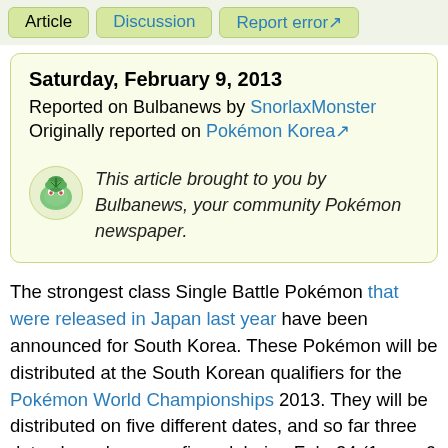Article  Discussion  Report error
Saturday, February 9, 2013
Reported on Bulbanews by SnorlaxMonster
Originally reported on Pokémon Korea
This article brought to you by Bulbanews, your community Pokémon newspaper.
The strongest class Single Battle Pokémon that were released in Japan last year have been announced for South Korea. These Pokémon will be distributed at the South Korean qualifiers for the Pokémon World Championships 2013. They will be distributed on five different dates, and so far three dates have been confirmed, being Feb. 24 (1 pm - 6 pm), March 30 (1pm -